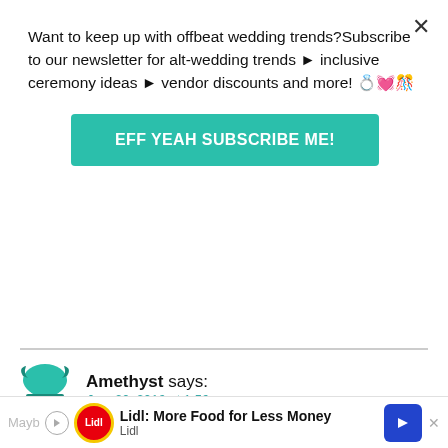Want to keep up with offbeat wedding trends? Subscribe to our newsletter for alt-wedding trends ✦ inclusive ceremony ideas ✦ vendor discounts and more! 💍👰🎊
EFF YEAH SUBSCRIBE ME!
Amethyst says:
Jan. 20, 2016 at 1:56 pm
My fiancé and I didn't even need to have a conversation about this – long before we were engaged I drunkenly teased him that I would not be changing my name and he laughed and said, "Oh, I already assumed that!" He knows me well. 🙂
Mayb... or me to giv... r.
Lidl: More Food for Less Money
Lidl